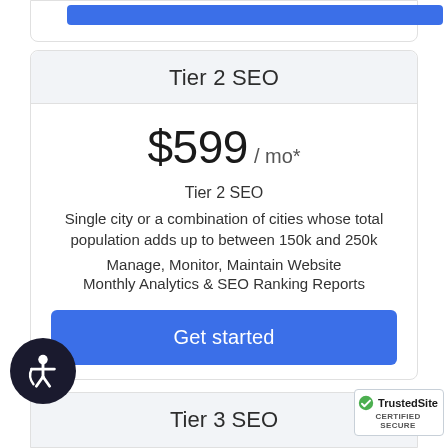Tier 2 SEO
$599 / mo*
Tier 2 SEO
Single city or a combination of cities whose total population adds up to between 150k and 250k
Manage, Monitor, Maintain Website
Monthly Analytics & SEO Ranking Reports
Get started
Tier 3 SEO